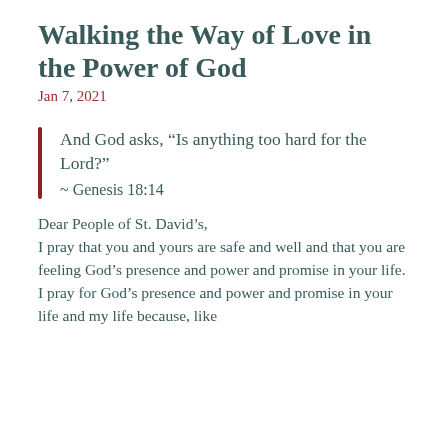Walking the Way of Love in the Power of God
Jan 7, 2021
And God asks, “Is anything too hard for the Lord?”
~ Genesis 18:14
Dear People of St. David’s,
I pray that you and yours are safe and well and that you are feeling God’s presence and power and promise in your life.
I pray for God’s presence and power and promise in your life and my life because, like